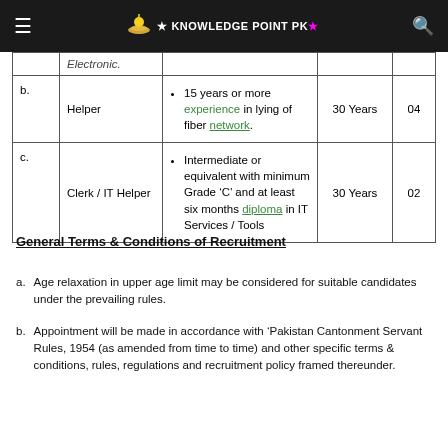Knowledge Point PK (logo navigation bar)
|  | Post | Qualification / Experience | Age | Posts |
| --- | --- | --- | --- | --- |
| b. | Helper | 15 years or more experience in lying of fiber network. | 30 Years | 04 |
| c. | Clerk / IT Helper | Intermediate or equivalent with minimum Grade 'C' and at least six months diploma in IT Services / Tools | 30 Years | 02 |
General Terms & Conditions of Recruitment
Age relaxation in upper age limit may be considered for suitable candidates under the prevailing rules.
Appointment will be made in accordance with 'Pakistan Cantonment Servant Rules, 1954 (as amended from time to time) and other specific terms & conditions, rules, regulations and recruitment policy framed thereunder.